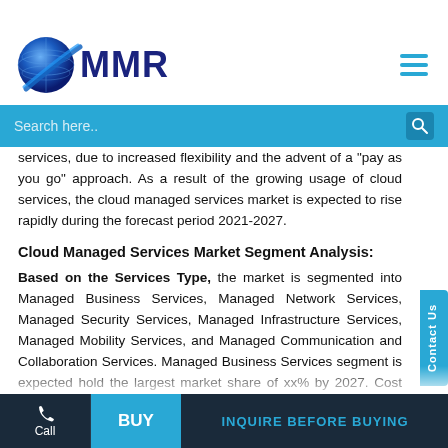MMR logo and navigation header with search bar
services, due to increased flexibility and the advent of a "pay as you go" approach. As a result of the growing usage of cloud services, the cloud managed services market is expected to rise rapidly during the forecast period 2021-2027.
Cloud Managed Services Market Segment Analysis:
Based on the Services Type, the market is segmented into Managed Business Services, Managed Network Services, Managed Security Services, Managed Infrastructure Services, Managed Mobility Services, and Managed Communication and Collaboration Services. Managed Business Services segment is expected hold the largest market share of xx% by 2027. Cost savings, future-proofed technology, unique and integrated service
Call | BUY | INQUIRE BEFORE BUYING